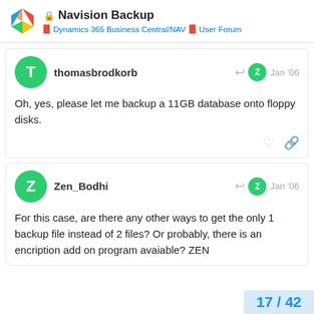Navision Backup — Dynamics 365 Business Central/NAV | User Forum
thomasbrodkorb Jan '06
Oh, yes, please let me backup a 11GB database onto floppy disks.
Zen_Bodhi Jan '06
For this case, are there any other ways to get the only 1 backup file instead of 2 files? Or probably, there is an encription add on program avaiable? ZEN
17 / 42